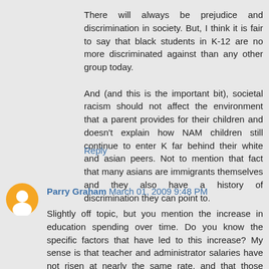There will always be prejudice and discrimination in society. But, I think it is fair to say that black students in K-12 are no more discriminated against than any other group today.

And (and this is the important bit), societal racism should not affect the environment that a parent provides for their children and doesn't explain how NAM children still continue to enter K far behind their white and asian peers. Not to mention that fact that many asians are immigrants themselves and they also have a history of discrimination they can point to.
Reply
Parry Graham March 01, 2009 9:48 PM
Slightly off topic, but you mention the increase in education spending over time. Do you know the specific factors that have led to this increase? My sense is that teacher and administrator salaries have not risen at nearly the same rate, and that those expenditures likely account for only a small fraction of the increase. If I had to bet, I would guess